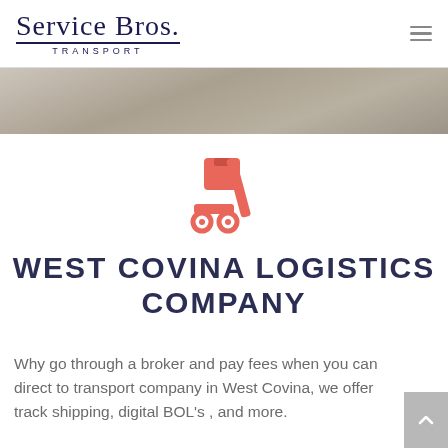Service Bros. TRANSPORT
[Figure (photo): Gray textured background hero band image]
[Figure (illustration): Red/coral colored delivery dolly / hand truck with package icon]
WEST COVINA LOGISTICS COMPANY
Why go through a broker and pay fees when you can direct to transport company in West Covina, we offer track shipping, digital BOL's , and more.